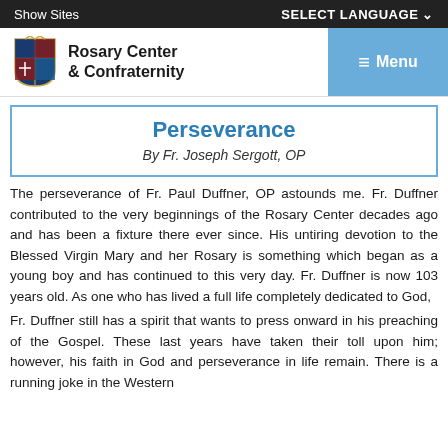Show Sites | SELECT LANGUAGE
Rosary Center & Confraternity
Perseverance
By Fr. Joseph Sergott, OP
The perseverance of Fr. Paul Duffner, OP astounds me. Fr. Duffner contributed to the very beginnings of the Rosary Center decades ago and has been a fixture there ever since. His untiring devotion to the Blessed Virgin Mary and her Rosary is something which began as a young boy and has continued to this very day. Fr. Duffner is now 103 years old. As one who has lived a full life completely dedicated to God,
Fr. Duffner still has a spirit that wants to press onward in his preaching of the Gospel. These last years have taken their toll upon him; however, his faith in God and perseverance in life remain. There is a running joke in the Western